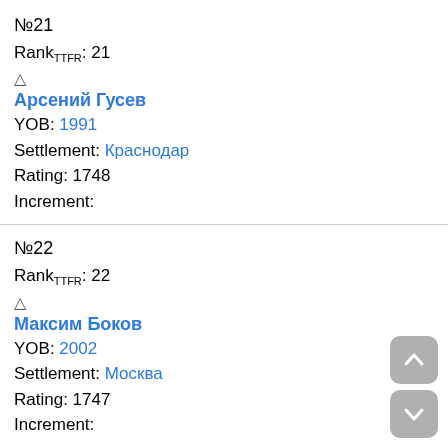№21
RankTTFR: 21
△
Арсений Гусев
YOB: 1991
Settlement: Краснодар
Rating: 1748
Increment:
№22
RankTTFR: 22
△
Максим Боков
YOB: 2002
Settlement: Москва
Rating: 1747
Increment:
№23
RankTTFR: 23
△
Андрей Байбуллин